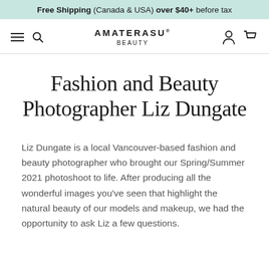Free Shipping (Canada & USA) over $40+ before tax
AMATERASU BEAUTY
Fashion and Beauty Photographer Liz Dungate
Liz Dungate is a local Vancouver-based fashion and beauty photographer who brought our Spring/Summer 2021 photoshoot to life. After producing all the wonderful images you've seen that highlight the natural beauty of our models and makeup, we had the opportunity to ask Liz a few questions.